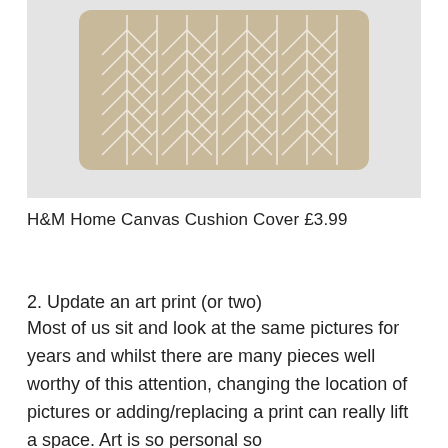[Figure (photo): A rectangular cushion cover with a geometric chevron/herringbone pattern in tan/beige and white, photographed on a light grey background. The cushion is oriented horizontally, showing the top portion.]
H&M Home Canvas Cushion Cover £3.99
2. Update an art print (or two)
Most of us sit and look at the same pictures for years and whilst there are many pieces well worthy of this attention, changing the location of pictures or adding/replacing a print can really lift a space. Art is so personal so